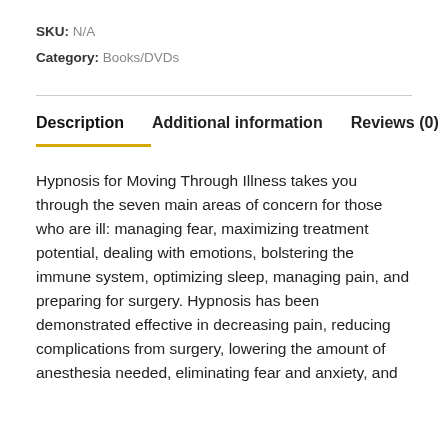SKU: N/A
Category: Books/DVDs
Description    Additional information    Reviews (0)
Hypnosis for Moving Through Illness takes you through the seven main areas of concern for those who are ill: managing fear, maximizing treatment potential, dealing with emotions, bolstering the immune system, optimizing sleep, managing pain, and preparing for surgery. Hypnosis has been demonstrated effective in decreasing pain, reducing complications from surgery, lowering the amount of anesthesia needed, eliminating fear and anxiety, and